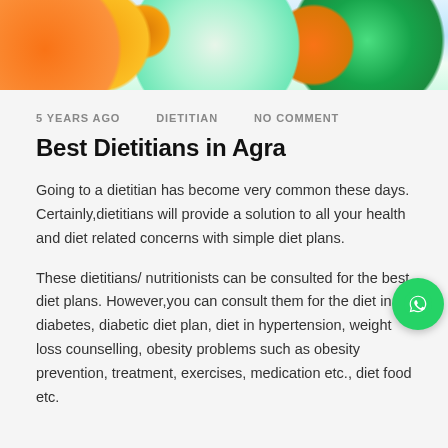[Figure (photo): Photo of assorted fruits including oranges, kiwi, apple, and a measuring tape on a light background, suggesting healthy diet and nutrition.]
5 YEARS AGO    DIETITIAN    NO COMMENT
Best Dietitians in Agra
Going to a dietitian has become very common these days. Certainly,dietitians will provide a solution to all your health and diet related concerns with simple diet plans.
These dietitians/ nutritionists can be consulted for the best diet plans. However,you can consult them for the diet in diabetes, diabetic diet plan, diet in hypertension, weight loss counselling, obesity problems such as obesity prevention, treatment, exercises, medication etc., diet food etc.